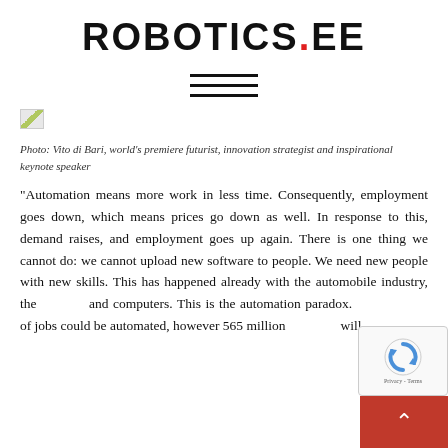ROBOTICS.EE
[Figure (other): Hamburger menu icon — three horizontal lines]
[Figure (photo): Broken/placeholder image thumbnail]
Photo: Vito di Bari, world's premiere futurist, innovation strategist and inspirational keynote speaker
“Automation means more work in less time. Consequently, employment goes down, which means prices go down as well. In response to this, demand raises, and employment goes up again. There is one thing we cannot do: we cannot upload new software to people. We need new people with new skills. This has happened already with the automobile industry, the airplane and computers. This is the automation paradox. By 2020 lots of jobs could be automated, however 565 million new jobs will